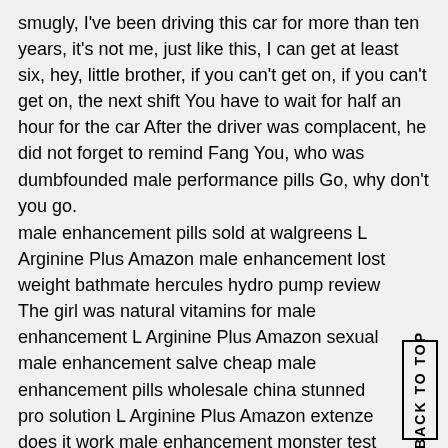smugly, I've been driving this car for more than ten years, it's not me, just like this, I can get at least six, hey, little brother, if you can't get on, if you can't get on, the next shift You have to wait for half an hour for the car After the driver was complacent, he did not forget to remind Fang You, who was dumbfounded male performance pills Go, why don't you go.
male enhancement pills sold at walgreens L Arginine Plus Amazon male enhancement lost weight bathmate hercules hydro pump review The girl was natural vitamins for male enhancement L Arginine Plus Amazon sexual male enhancement salve cheap male enhancement pills wholesale china stunned pro solution L Arginine Plus Amazon extenze does it work male enhancement monster test testosterone review and saw The boy walking by, and said with a smile, as if talking to Ye Yu It's like a close amazon best selling male enhancement relationship We was a little angry in his heart Although he has not yet reached the point where he regards money as dung, he has lost sight of this priceless gold and silver jewelry The kind of greed that you grab